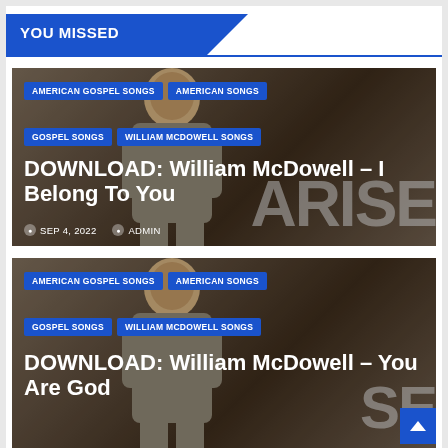YOU MISSED
[Figure (photo): Article card with background photo of a man in a suit. Categories: AMERICAN GOSPEL SONGS, AMERICAN SONGS, GOSPEL SONGS, WILLIAM MCDOWELL SONGS. Title: DOWNLOAD: William McDowell – I Belong To You. Date: SEP 4, 2022. Author: ADMIN.]
[Figure (photo): Article card with background photo of a man in a suit. Categories: AMERICAN GOSPEL SONGS, AMERICAN SONGS, GOSPEL SONGS, WILLIAM MCDOWELL SONGS. Title: DOWNLOAD: William McDowell – You Are God. Partially visible/cut off at bottom.]